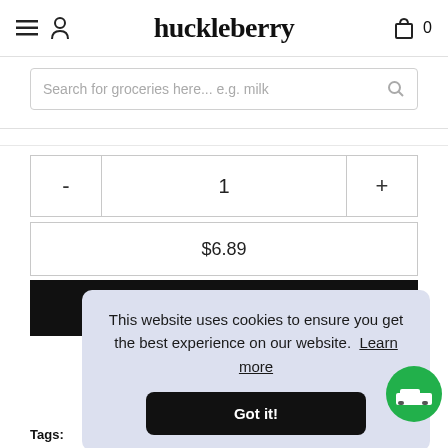huckleberry
Search for groceries here... e.g. milk
- 1 +
$6.89
add to bag
This website uses cookies to ensure you get the best experience on our website. Learn more
Got it!
Tags:  Vegetarian  Vegan  Dairy-Free